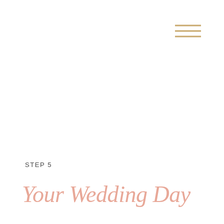[Figure (illustration): Three horizontal golden/tan lines forming a hamburger menu icon in the upper right corner]
STEP 5
Your Wedding Day